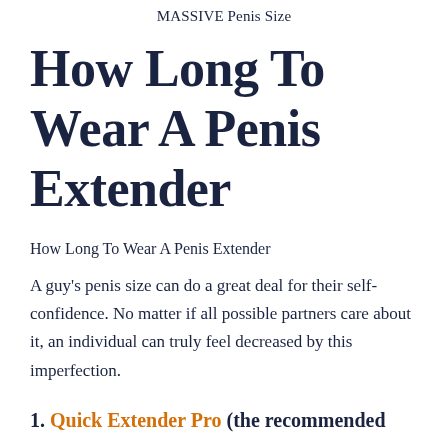MASSIVE Penis Size
How Long To Wear A Penis Extender
How Long To Wear A Penis Extender
A guy's penis size can do a great deal for their self-confidence. No matter if all possible partners care about it, an individual can truly feel decreased by this imperfection.
1. Quick Extender Pro (the recommended